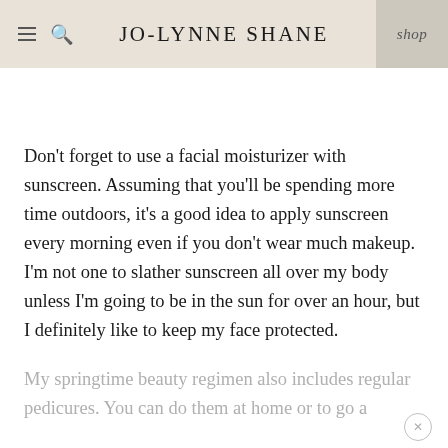JO-LYNNE SHANE | shop
Don't forget to use a facial moisturizer with sunscreen. Assuming that you'll be spending more time outdoors, it's a good idea to apply sunscreen every morning even if you don't wear much makeup. I'm not one to slather sunscreen all over my body unless I'm going to be in the sun for over an hour, but I definitely like to keep my face protected.
My springtime beauty regimen also includes regular pedicures. You can do them at home or to go a